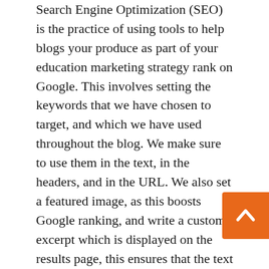Search Engine Optimization (SEO) is the practice of using tools to help blogs your produce as part of your education marketing strategy rank on Google. This involves setting the keywords that we have chosen to target, and which we have used throughout the blog. We make sure to use them in the text, in the headers, and in the URL. We also set a featured image, as this boosts Google ranking, and write a custom excerpt which is displayed on the results page, this ensures that the text is displayed fully, and doesn't end with an ellipsis.
In addition, we chose a title of the length that is shown to be most effective in catching people's attention and using certain power words that have been shown to gain clicks. We hope that this has